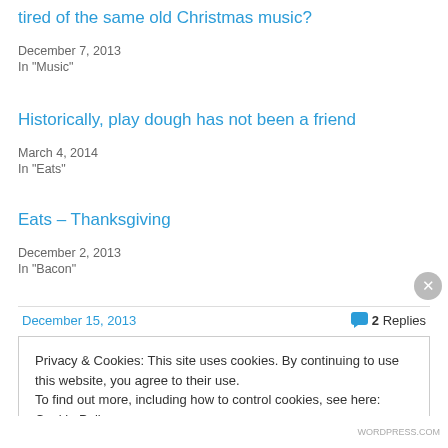tired of the same old Christmas music?
December 7, 2013
In "Music"
Historically, play dough has not been a friend
March 4, 2014
In "Eats"
Eats – Thanksgiving
December 2, 2013
In "Bacon"
December 15, 2013
2 Replies
Privacy & Cookies: This site uses cookies. By continuing to use this website, you agree to their use.
To find out more, including how to control cookies, see here: Cookie Policy
Close and accept